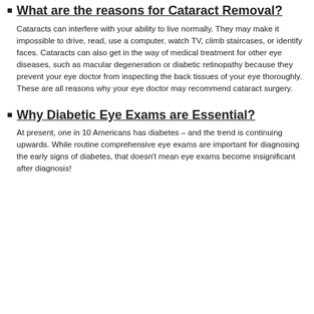What are the reasons for Cataract Removal?
Cataracts can interfere with your ability to live normally. They may make it impossible to drive, read, use a computer, watch TV, climb staircases, or identify faces. Cataracts can also get in the way of medical treatment for other eye diseases, such as macular degeneration or diabetic retinopathy because they prevent your eye doctor from inspecting the back tissues of your eye thoroughly. These are all reasons why your eye doctor may recommend cataract surgery.
Why Diabetic Eye Exams are Essential?
At present, one in 10 Americans has diabetes – and the trend is continuing upwards. While routine comprehensive eye exams are important for diagnosing the early signs of diabetes, that doesn't mean eye exams become insignificant after diagnosis!